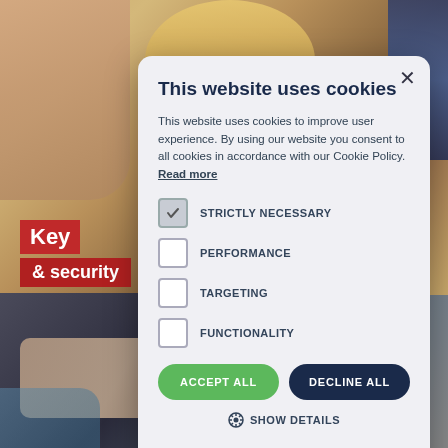[Figure (photo): Background photograph showing a close-up of a golden padlock with a key being inserted, and a bottom section showing a close-up of hands working with metal/security hardware. Red label overlaid reading 'Key & security'.]
This website uses cookies
This website uses cookies to improve user experience. By using our website you consent to all cookies in accordance with our Cookie Policy. Read more
STRICTLY NECESSARY
PERFORMANCE
TARGETING
FUNCTIONALITY
ACCEPT ALL
DECLINE ALL
SHOW DETAILS